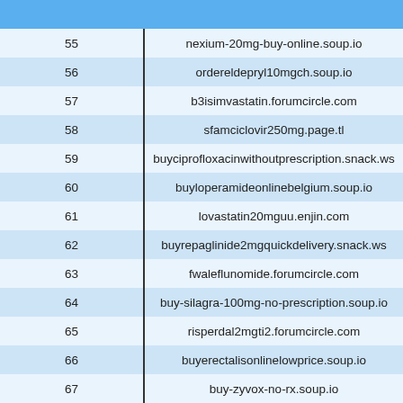| # | Domain |
| --- | --- |
| 55 | nexium-20mg-buy-online.soup.io |
| 56 | ordereldepryl10mgch.soup.io |
| 57 | b3isimvastatin.forumcircle.com |
| 58 | sfamciclovir250mg.page.tl |
| 59 | buyciprofloxacinwithoutprescription.snack.ws |
| 60 | buyloperamideonlinebelgium.soup.io |
| 61 | lovastatin20mguu.enjin.com |
| 62 | buyrepaglinide2mgquickdelivery.snack.ws |
| 63 | fwaleflunomide.forumcircle.com |
| 64 | buy-silagra-100mg-no-prescription.soup.io |
| 65 | risperdal2mgti2.forumcircle.com |
| 66 | buyerectalisonlinelowprice.soup.io |
| 67 | buy-zyvox-no-rx.soup.io |
| 68 | order-diphenhydramine-without-prescription.soup.io |
| 69 | orderbicalutamidecheap.snack.ws |
| 70 | … |